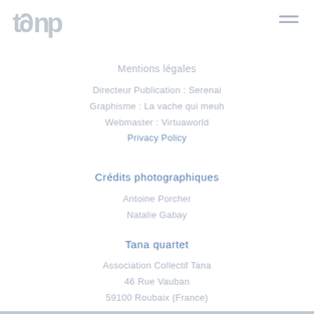[Figure (logo): tena logo in light grey]
Mentions légales
Directeur Publication : Serenai
Graphisme : La vache qui meuh
Webmaster : Virtuaworld
Privacy Policy
Crédits photographiques
Antoine Porcher
Natalie Gabay
Tana quartet
Association Collectif Tana
46 Rue Vauban
59100 Roubaix (France)